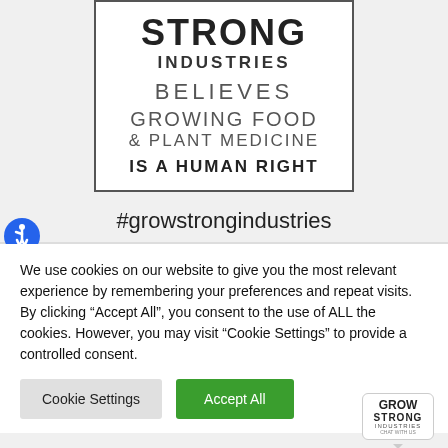[Figure (logo): Grow Strong Industries logo with text: STRONG INDUSTRIES BELIEVES GROWING FOOD & PLANT MEDICINE IS A HUMAN RIGHT, in a bordered box]
[Figure (logo): Blue circle accessibility icon (wheelchair symbol)]
#growstrongindustries
We use cookies on our website to give you the most relevant experience by remembering your preferences and repeat visits. By clicking "Accept All", you consent to the use of ALL the cookies. However, you may visit "Cookie Settings" to provide a controlled consent.
Cookie Settings
Accept All
[Figure (logo): Grow Strong Industries chat widget logo in bottom right corner, speech bubble shape with GROW STRONG INDUSTRIES text]